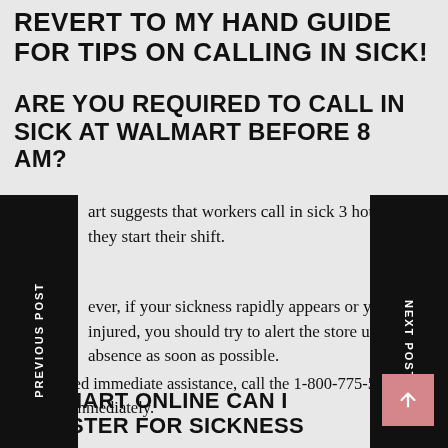REVERT TO MY HAND GUIDE FOR TIPS ON CALLING IN SICK!
ARE YOU REQUIRED TO CALL IN SICK AT WALMART BEFORE 8 AM?
Walmart suggests that workers call in sick 3 hours before they start their shift.
However, if your sickness rapidly appears or you become injured, you should try to alert the store of your absence as soon as possible.
If you need immediate assistance, call the 1-800-775-5944 number immediately.
WALMART ONLINE CAN I REGISTER FOR SICKNESS